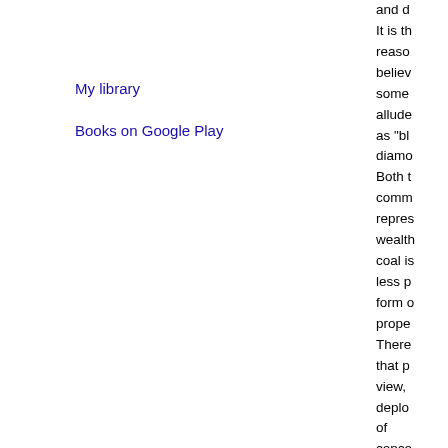My library
Books on Google Play
and d
It is th
reaso
believ
some
allude
as "bl
diamo
Both t
comm
repres
wealth
coal is
less p
form o
prope
There
that p
view,
deplo
of
conce
in coa